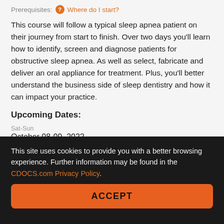Prerequisites: ❓ Where do I start?
This course will follow a typical sleep apnea patient on their journey from start to finish. Over two days you'll learn how to identify, screen and diagnose patients for obstructive sleep apnea. As well as select, fabricate and deliver an oral appliance for treatment. Plus, you'll better understand the business side of sleep dentistry and how it can impact your practice.
Upcoming Dates:
Sat-Sun
October 08-09, 2022
Charlotte, NC
Thu-Fri
October 13-14, 2022
Scottsdale, AZ
Sat-Sun
This site uses cookies to provide you with a better browsing experience. Further information may be found in the CDOCS.com Privacy Policy.
ACCEPT